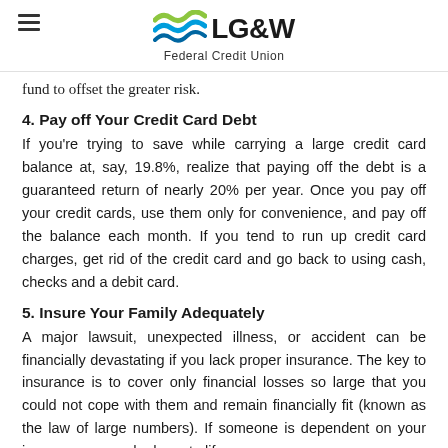LG&W Federal Credit Union
fund to offset the greater risk.
4. Pay off Your Credit Card Debt
If you're trying to save while carrying a large credit card balance at, say, 19.8%, realize that paying off the debt is a guaranteed return of nearly 20% per year. Once you pay off your credit cards, use them only for convenience, and pay off the balance each month. If you tend to run up credit card charges, get rid of the credit card and go back to using cash, checks and a debit card.
5. Insure Your Family Adequately
A major lawsuit, unexpected illness, or accident can be financially devastating if you lack proper insurance. The key to insurance is to cover only financial losses so large that you could not cope with them and remain financially fit (known as the law of large numbers). If someone is dependent on your income, you need adequate life insurance and disability insurance as well.